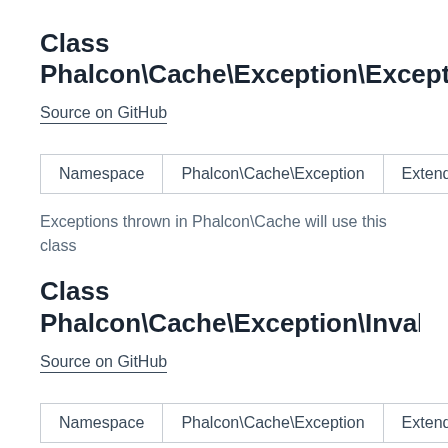Class Phalcon\Cache\Exception\Exception
Source on GitHub
| Namespace | Phalcon\Cache\Exception | Extends | \ |
| --- | --- | --- | --- |
Exceptions thrown in Phalcon\Cache will use this class
Class Phalcon\Cache\Exception\InvalidArgumentExcep
Source on GitHub
| Namespace | Phalcon\Cache\Exception | Extends | \ |
| --- | --- | --- | --- |
Exceptions thrown in Phalcon\Cache will use this class